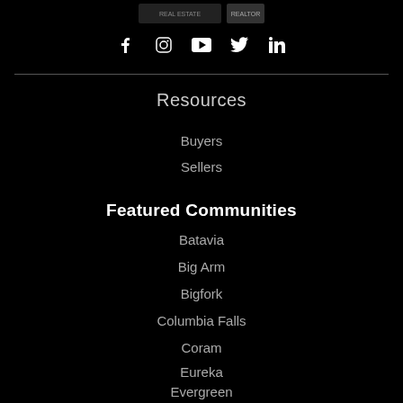[Figure (logo): Real estate agency logo with REALTOR badge at top center]
[Figure (infographic): Social media icons: Facebook, Instagram, YouTube, Twitter, LinkedIn]
Resources
Buyers
Sellers
Featured Communities
Batavia
Big Arm
Bigfork
Columbia Falls
Coram
Eureka
Evergreen